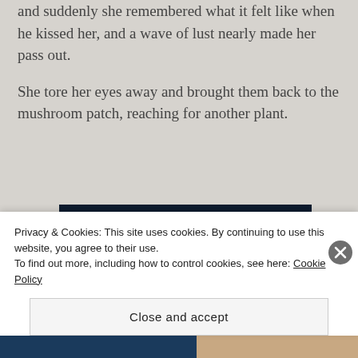and suddenly she remembered what it felt like when he kissed her, and a wave of lust nearly made her pass out.
She tore her eyes away and brought them back to the mushroom patch, reaching for another plant.
[Figure (other): Advertisement banner with dark navy background showing 'F2 Fewer meetings, more work.' in white bold text]
Privacy & Cookies: This site uses cookies. By continuing to use this website, you agree to their use.
To find out more, including how to control cookies, see here: Cookie Policy
Close and accept